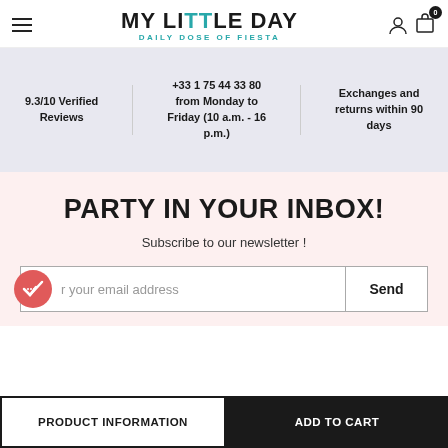MY LITTLE DAY — DAILY DOSE OF FIESTA
9.3/10 Verified Reviews
+33 1 75 44 33 80 from Monday to Friday (10 a.m. - 16 p.m.)
Exchanges and returns within 90 days
PARTY IN YOUR INBOX!
Subscribe to our newsletter !
Enter your email address
Send
PRODUCT INFORMATION
ADD TO CART